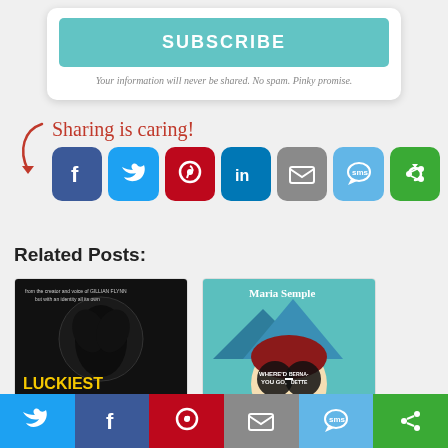[Figure (screenshot): Subscribe button (teal/mint color) with text 'SUBSCRIBE' and note 'Your information will never be shared. No spam. Pinky promise.']
[Figure (infographic): Sharing is caring! banner with red cursive text and arrow, followed by social sharing icons: Facebook, Twitter, Pinterest, LinkedIn, Email, SMS, Share]
Related Posts:
[Figure (photo): Book cover: Luckiest Girl Alive]
[Figure (photo): Book cover: Where'd You Go, Bernadette by Maria Semple]
[Figure (infographic): Bottom social share bar with Twitter, Facebook, Pinterest, Email, SMS, Share icons]